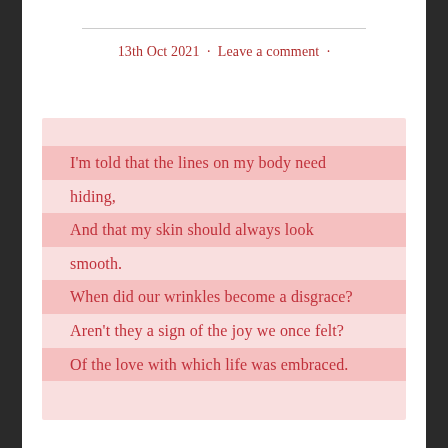13th Oct 2021  ·  Leave a comment  ·
I'm told that the lines on my body need hiding,
And that my skin should always look smooth.
When did our wrinkles become a disgrace?
Aren't they a sign of the joy we once felt?
Of the love with which life was embraced.